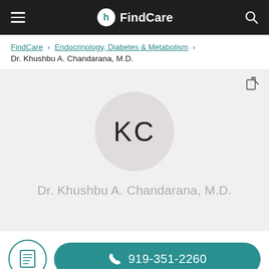FindCare
FindCare › Endocrinology, Diabetes & Metabolism › Dr. Khushbu A. Chandarana, M.D.
[Figure (illustration): Profile card with avatar circle showing initials KC and doctor name Dr. Khushbu A. Chandarana, M.D. in grey text on a light grey background]
919-351-2260